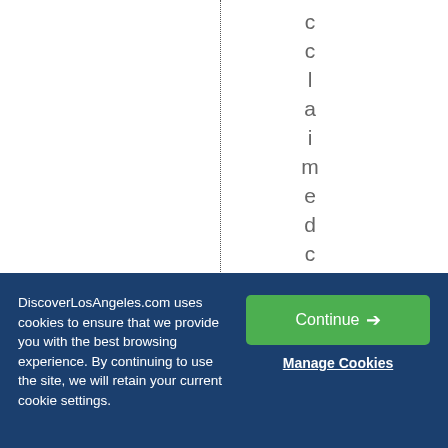[Figure (other): White area with a vertical dotted line on the left half and vertically stacked letters spelling 'ccl aim ed chef sand' on the right side of the line]
DiscoverLosAngeles.com uses cookies to ensure that we provide you with the best browsing experience. By continuing to use the site, we will retain your current cookie settings.
Continue →
Manage Cookies